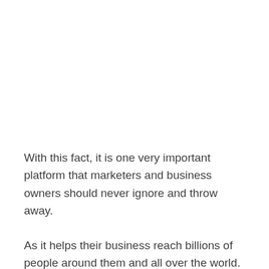With this fact, it is one very important platform that marketers and business owners should never ignore and throw away.
As it helps their business reach billions of people around them and all over the world.